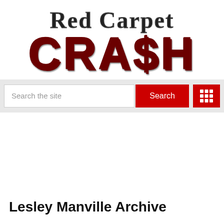[Figure (logo): Red Carpet Crash logo: 'Red Carpet' in serif bold black text above 'CRASH' in large distressed red Impact-style font with dollar sign replacing the 'S']
Search the site
Search
Lesley Manville Archive